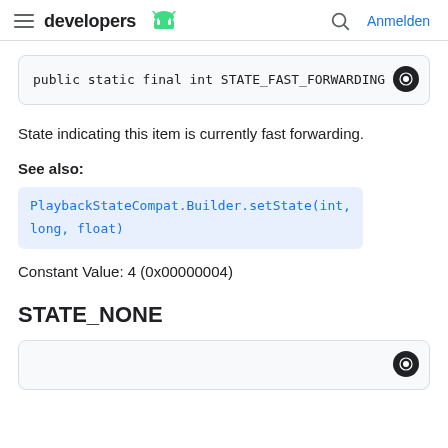developers  Anmelden
public static final int STATE_FAST_FORWARDING
State indicating this item is currently fast forwarding.
See also:
PlaybackStateCompat.Builder.setState(int, long, float)
Constant Value: 4 (0x00000004)
STATE_NONE